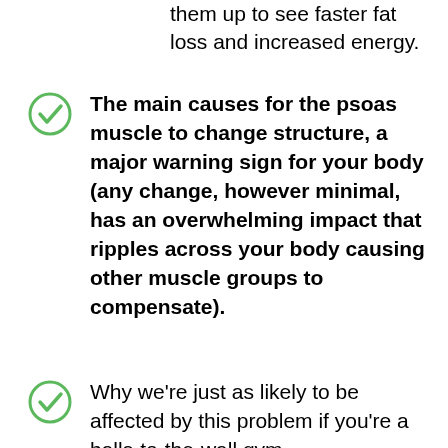them up to see faster fat loss and increased energy.
The main causes for the psoas muscle to change structure, a major warning sign for your body (any change, however minimal, has an overwhelming impact that ripples across your body causing other muscle groups to compensate).
Why we're just as likely to be affected by this problem if you're a balls-to-the-wall gym